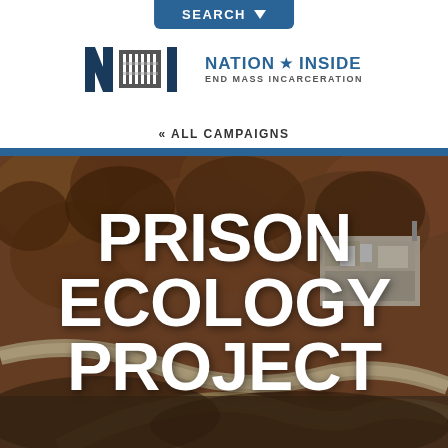SEARCH
[Figure (logo): Nation Inside End Mass Incarceration logo with NI letters and bars graphic]
« ALL CAMPAIGNS
[Figure (photo): Aerial photograph of a forested hillside with a prison facility visible in the upper right corner, winding roads below]
PRISON ECOLOGY PROJECT